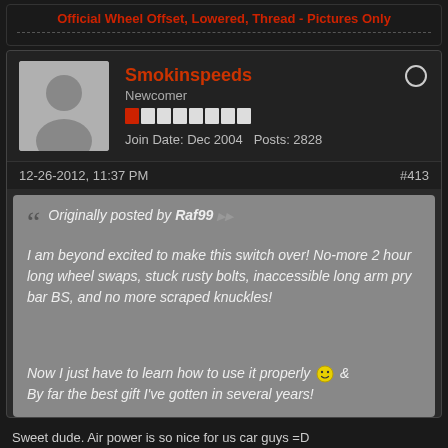Official Wheel Offset, Lowered, Thread - Pictures Only
Smokinspeeds
Newcomer
Join Date: Dec 2004  Posts: 2828
12-26-2012, 11:37 PM  #413
Originally posted by Raf99
I am beyond excited to make this switch over! No-more 2 hour long wheel swaps, stuck rusty bolts, inaccessible long arm pry bar BS, and no more scraped knuckles!
Now I just have to learn how to use it properly & By far the best gift I've gotten in several years!
Sweet dude. Air power is so nice for us car guys =D